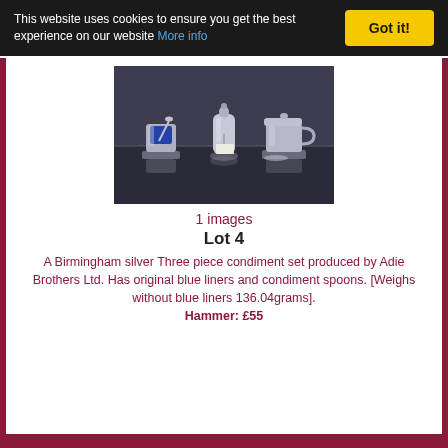This website uses cookies to ensure you get the best experience on our website More info  Got it!
[Figure (photo): Three piece silver condiment set by Adie Brothers Ltd., including a salt cellar with blue liner and spoon, a pepper shaker, and a mustard pot with lid and spoon, displayed on a dark surface.]
1 images
Lot 4
A Birmingham silver Three piece condiment set produced by Adie Brothers Ltd. Has original blue liners and condiment spoons. [Weighs without blue liners 136.04grams]. Hammer: £55